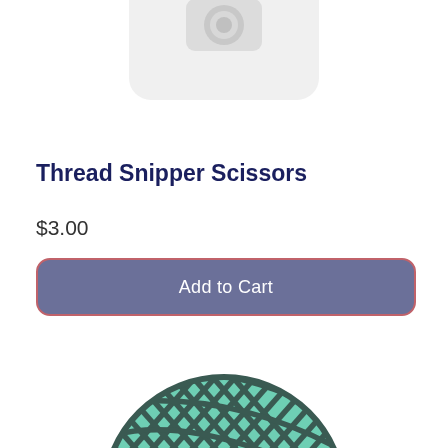[Figure (illustration): Gray placeholder image icon with a camera symbol, rounded square shape]
Thread Snipper Scissors
$3.00
[Figure (illustration): Add to Cart button with slate-blue/gray background and reddish border]
[Figure (illustration): Yarn ball illustration in teal/mint green color with dark gray diagonal stripe lines]